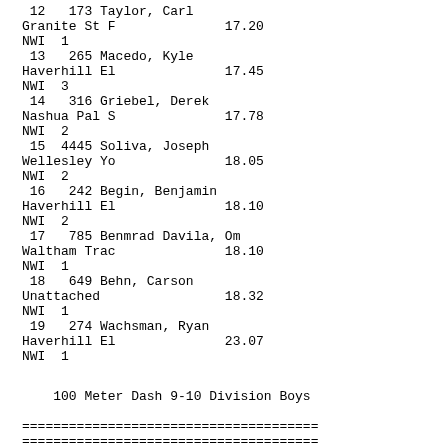12   173 Taylor, Carl
Granite St F              17.20
NWI  1
13   265 Macedo, Kyle
Haverhill El              17.45
NWI  3
14   316 Griebel, Derek
Nashua Pal S              17.78
NWI  2
15  4445 Soliva, Joseph
Wellesley Yo              18.05
NWI  2
16   242 Begin, Benjamin
Haverhill El              18.10
NWI  2
17   785 Benmrad Davila, Om
Waltham Trac              18.10
NWI  1
18   649 Behn, Carson
Unattached                18.32
NWI  1
19   274 Wachsman, Ryan
Haverhill El              23.07
NWI  1
100 Meter Dash 9-10 Division Boys
======================================
======================================
Name                         Year
Team                                  Finals